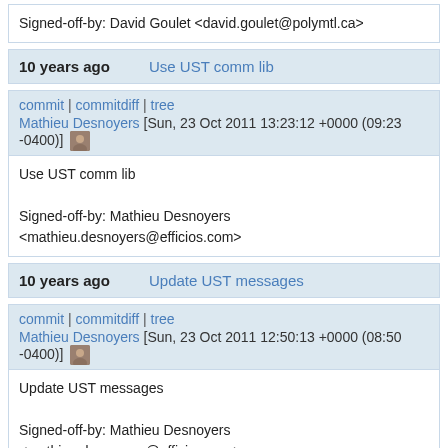Signed-off-by: David Goulet <david.goulet@polymtl.ca>
10 years ago   Use UST comm lib
commit | commitdiff | tree
Mathieu Desnoyers [Sun, 23 Oct 2011 13:23:12 +0000 (09:23 -0400)]
Use UST comm lib

Signed-off-by: Mathieu Desnoyers <mathieu.desnoyers@efficios.com>
10 years ago   Update UST messages
commit | commitdiff | tree
Mathieu Desnoyers [Sun, 23 Oct 2011 12:50:13 +0000 (08:50 -0400)]
Update UST messages

Signed-off-by: Mathieu Desnoyers <mathieu.desnoyers@efficios.com>
10 years ago   UST 2.0 support